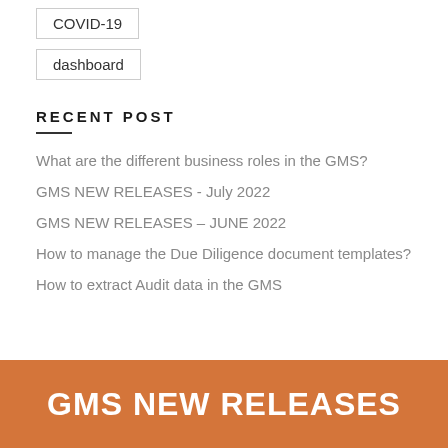COVID-19
dashboard
RECENT POST
What are the different business roles in the GMS?
GMS NEW RELEASES - July 2022
GMS NEW RELEASES – JUNE 2022
How to manage the Due Diligence document templates?
How to extract Audit data in the GMS
GMS NEW RELEASES